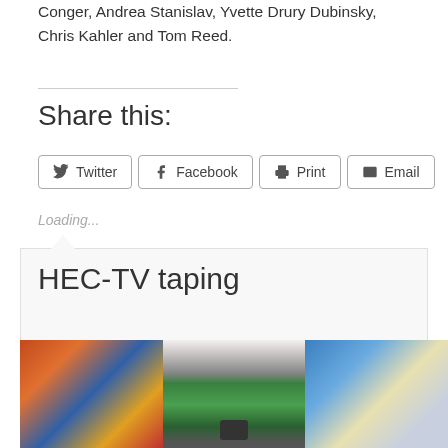Conger, Andrea Stanislav, Yvette Drury Dubinsky, Chris Kahler and Tom Reed.
Share this:
Twitter
Facebook
Print
Email
Loading...
HEC-TV taping
[Figure (photo): Photo strip showing artwork on walls: colorful abstract painting on left, large green plant/wreath in center with camera equipment, blue and white painting on right.]